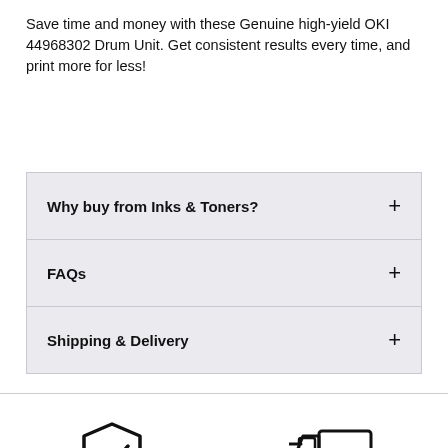Save time and money with these Genuine high-yield OKI 44968302 Drum Unit. Get consistent results every time, and print more for less!
Why buy from Inks & Toners?
FAQs
Shipping & Delivery
[Figure (illustration): Shield with checkmark icon]
[Figure (illustration): Delivery truck with speed lines icon]
Top Quality Inks and Toners at
Free Shipping for ABN holders